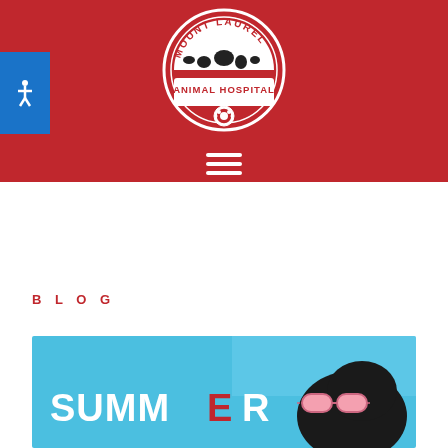[Figure (logo): Mount Laurel Animal Hospital circular logo on red background header, with animal silhouettes and text]
[Figure (illustration): Accessibility wheelchair icon in blue square button on left side of header]
[Figure (infographic): Hamburger menu icon (three white horizontal lines) on red background]
BLOG
[Figure (photo): Summer themed photo showing a dog wearing pink sunglasses against a blue sky background, with text 'SUMMER' in white and red letters]